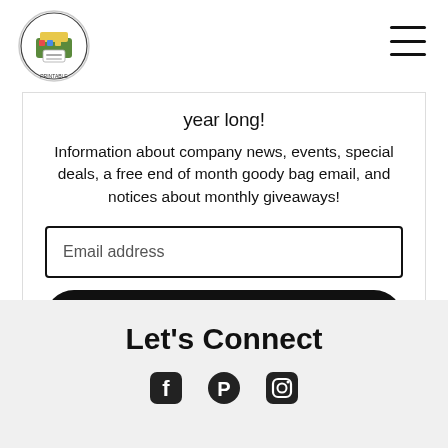[Figure (logo): Circular logo with colorful printer/blocks design and text around border]
year long!
Information about company news, events, special deals, a free end of month goody bag email, and notices about monthly giveaways!
Email address
Submit
Let's Connect
[Figure (infographic): Three social media icons: Facebook, Pinterest, Instagram]